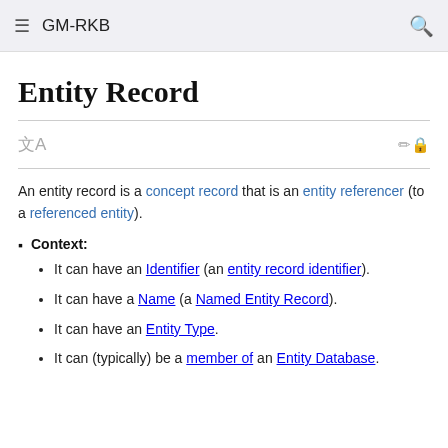GM-RKB
Entity Record
An entity record is a concept record that is an entity referencer (to a referenced entity).
Context:
It can have an Identifier (an entity record identifier).
It can have a Name (a Named Entity Record).
It can have an Entity Type.
It can (typically) be a member of an Entity Database.